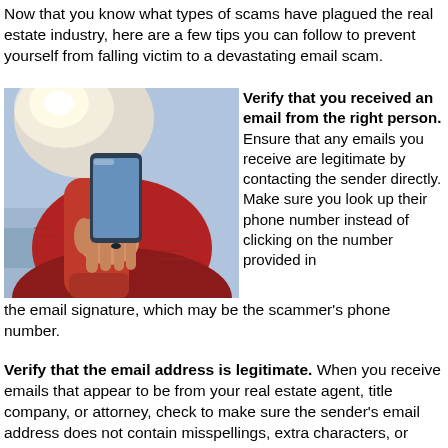Now that you know what types of scams have plagued the real estate industry, here are a few tips you can follow to prevent yourself from falling victim to a devastating email scam.
[Figure (photo): Person in a red sweater holding a smartphone outdoors.]
Verify that you received an email from the right person. Ensure that any emails you receive are legitimate by contacting the sender directly. Make sure you look up their phone number instead of clicking on the number provided in the email signature, which may be the scammer's phone number.
Verify that the email address is legitimate. When you receive emails that appear to be from your real estate agent, title company, or attorney, check to make sure the sender's email address does not contain misspellings, extra characters, or anything unusual.